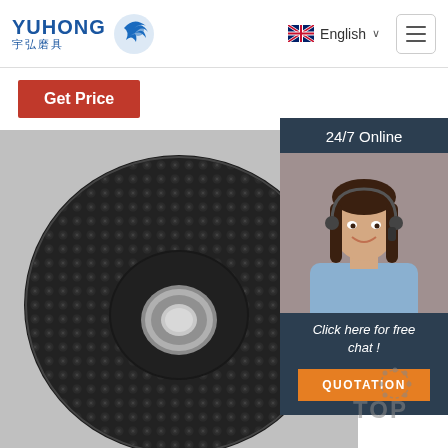[Figure (logo): YUHONG 宇弘磨具 company logo with blue wave/sphere icon, bold blue text]
English ∨
[Figure (other): Hamburger menu icon button]
[Figure (other): Get Price orange-red button]
[Figure (photo): Close-up photo of a black textured grinding/abrasive disc with a center metal hole, on a light grey background]
24/7 Online
[Figure (photo): Photo of a smiling female customer service agent wearing a headset]
Click here for free chat !
QUOTATION
[Figure (other): TOP watermark logo with dots forming circular pattern]